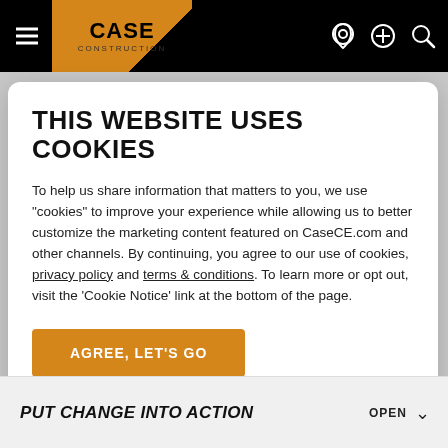[Figure (screenshot): CASE Construction website navigation bar with hamburger menu, CASE CONSTRUCTION logo on orange/black background, location pin icon, plus icon, and search icon]
THIS WEBSITE USES COOKIES
To help us share information that matters to you, we use "cookies" to improve your experience while allowing us to better customize the marketing content featured on CaseCE.com and other channels. By continuing, you agree to our use of cookies, privacy policy and terms & conditions. To learn more or opt out, visit the 'Cookie Notice' link at the bottom of the page.
AGREE, LET'S GO
PUT CHANGE INTO ACTION